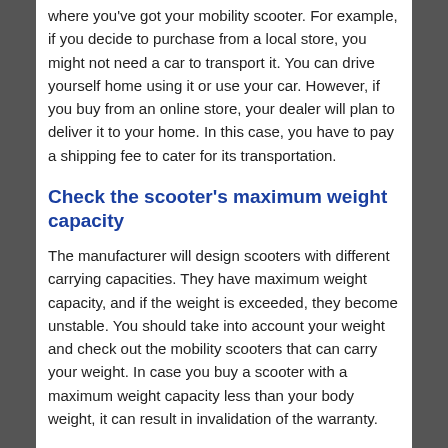where you've got your mobility scooter. For example, if you decide to purchase from a local store, you might not need a car to transport it. You can drive yourself home using it or use your car. However, if you buy from an online store, your dealer will plan to deliver it to your home. In this case, you have to pay a shipping fee to cater for its transportation.
Check the scooter's maximum weight capacity
The manufacturer will design scooters with different carrying capacities. They have maximum weight capacity, and if the weight is exceeded, they become unstable. You should take into account your weight and check out the mobility scooters that can carry your weight. In case you buy a scooter with a maximum weight capacity less than your body weight, it can result in invalidation of the warranty.